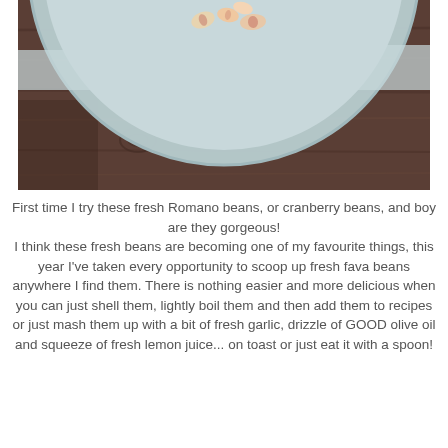[Figure (photo): A bowl of Romano/cranberry beans with colorful markings, sitting on a rustic dark wooden surface. The bowl is light blue/grey and the beans are visible at the top. The image is cropped showing only the bottom portion of the bowl and the wooden table.]
First time I try these fresh Romano beans, or cranberry beans, and boy are they gorgeous! I think these fresh beans are becoming one of my favourite things, this year I've taken every opportunity to scoop up fresh fava beans anywhere I find them. There is nothing easier and more delicious when you can just shell them, lightly boil them and then add them to recipes or just mash them up with a bit of fresh garlic, drizzle of GOOD olive oil and squeeze of fresh lemon juice... on toast or just eat it with a spoon!